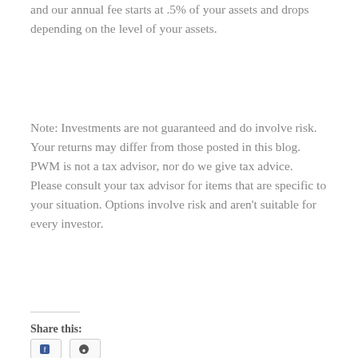and our annual fee starts at .5% of your assets and drops depending on the level of your assets.
Note: Investments are not guaranteed and do involve risk. Your returns may differ from those posted in this blog. PWM is not a tax advisor, nor do we give tax advice. Please consult your tax advisor for items that are specific to your situation. Options involve risk and aren't suitable for every investor.
Share this: